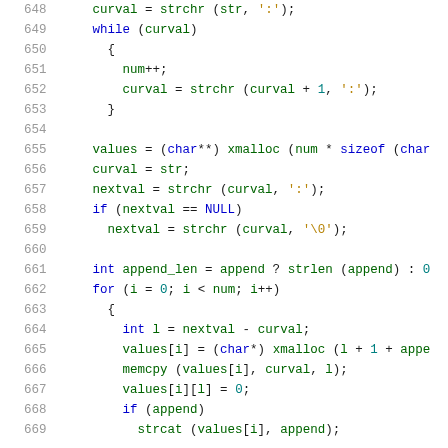[Figure (screenshot): Source code listing in C, lines 648-669, showing a while loop, variable assignments, strchr calls, and a for loop with memory allocation and string operations. White background with syntax highlighting: keywords in blue, functions in green, string literals in dark yellow, line numbers in gray.]